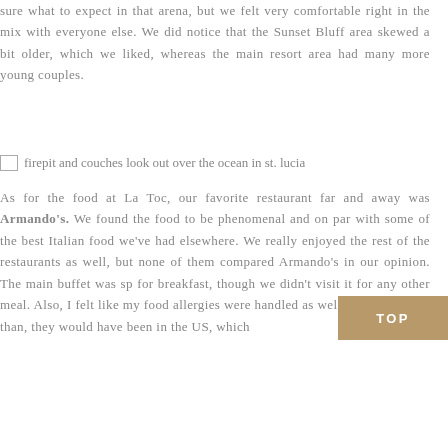sure what to expect in that arena, but we felt very comfortable right in the mix with everyone else. We did notice that the Sunset Bluff area skewed a bit older, which we liked, whereas the main resort area had many more young couples.
[Figure (photo): firepit and couches look out over the ocean in st. lucia]
As for the food at La Toc, our favorite restaurant far and away was Armando's. We found the food to be phenomenal and on par with some of the best Italian food we've had elsewhere. We really enjoyed the rest of the restaurants as well, but none of them compared Armando's in our opinion. The main buffet was sp for breakfast, though we didn't visit it for any other meal. Also, I felt like my food allergies were handled as well as, if not better than, they would have been in the US, which